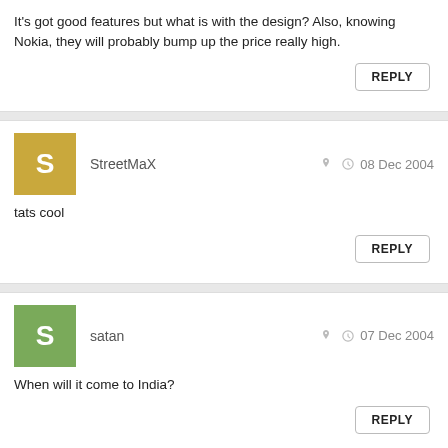It's got good features but what is with the design? Also, knowing Nokia, they will probably bump up the price really high.
REPLY
StreetMaX  08 Dec 2004
tats cool
REPLY
satan  07 Dec 2004
When will it come to India?
REPLY